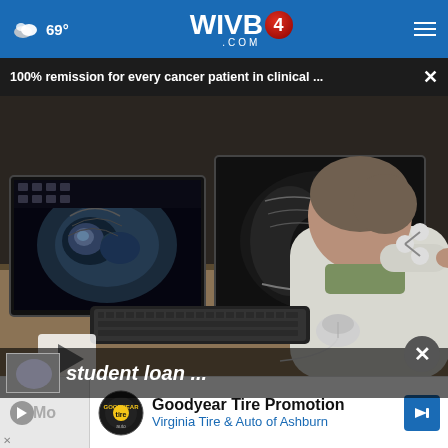WIVB4.COM — 69°
100% remission for every cancer patient in clinical ... ×
[Figure (photo): Doctor in white coat reviewing medical scans on multiple monitors at a desk. The screens show CT scan and chest X-ray images. A keyboard and mouse are visible on the desk.]
student loan ...
× Goodyear Tire Promotion Virginia Tire & Auto of Ashburn